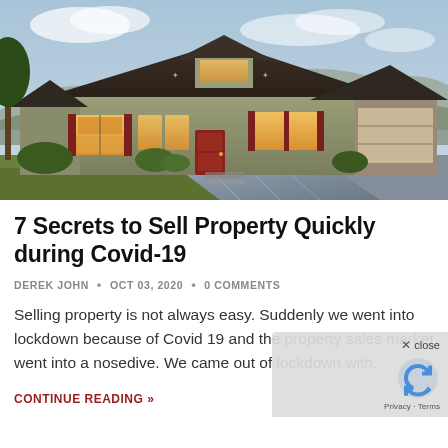[Figure (photo): Exterior photo of a suburban single-story house with olive/tan walls, dark red/maroon shutters, illuminated windows, a red front door, manicured green lawn, decorative landscaping, and a concrete driveway on a cloudy day.]
7 Secrets to Sell Property Quickly during Covid-19
DEREK JOHN  •  OCT 03, 2020  •  0 COMMENTS
Selling property is not always easy. Suddenly we went into lockdown because of Covid 19 and the property sales market went into a nosedive. We came out of lockdown with.
CONTINUE READING »